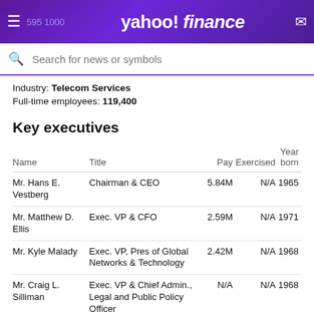Yahoo! Finance - Search for news or symbols
Industry: Telecom Services
Full-time employees: 119,400
Key executives
| Name | Title | Pay | Exercised | Year born |
| --- | --- | --- | --- | --- |
| Mr. Hans E. Vestberg | Chairman & CEO | 5.84M | N/A | 1965 |
| Mr. Matthew D. Ellis | Exec. VP & CFO | 2.59M | N/A | 1971 |
| Mr. Kyle Malady | Exec. VP, Pres of Global Networks & Technology | 2.42M | N/A | 1968 |
| Mr. Craig L. Silliman | Exec. VP & Chief Admin., Legal and Public Policy Officer | N/A | N/A | 1968 |
| Mr. Brady Connor | Sr. VP of Investor Relations | N/A | N/A | N/A |
| Mr. James J. Gerace | Sr. VP & Chief Communications Officer | N/A | N/A | 1964 |
| Mr. Diego ... | Exec. VP & Chief Marketing Officer | N/A | N/A | 1973 |